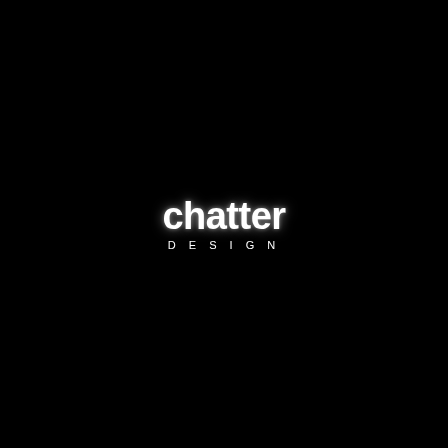[Figure (logo): Chatter Design logo on black background. Large bold lowercase white text 'chatter' with rounded letterforms, and beneath it smaller spaced uppercase white text 'DESIGN'.]